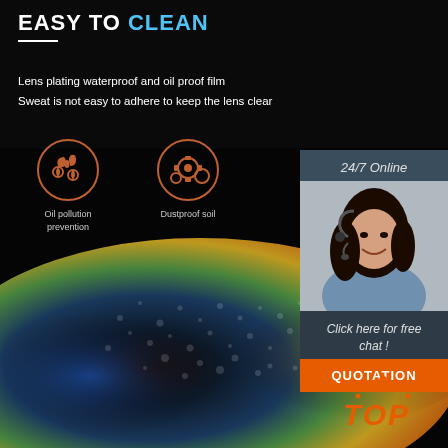EASY TO CLEAN
Lens plating waterproof and oil proof film
Sweat is not easy to adhere to keep the lens clear
[Figure (illustration): Two circular icons: left shows water/oil drops (orange), right shows gear/bubble pattern (orange). Labels: 'Oil pollution prevention' and 'Dustproof soil']
[Figure (photo): Product photo of a lens covered in water droplets with colorful reflections (blue, yellow, rainbow) on a black background]
[Figure (photo): Customer service representative smiling, wearing a headset, with '24/7 Online' text above and 'Click here for free chat!' text below, and an orange QUOTATION button]
[Figure (logo): TOP logo in orange italic text with small dot/arch decoration above]